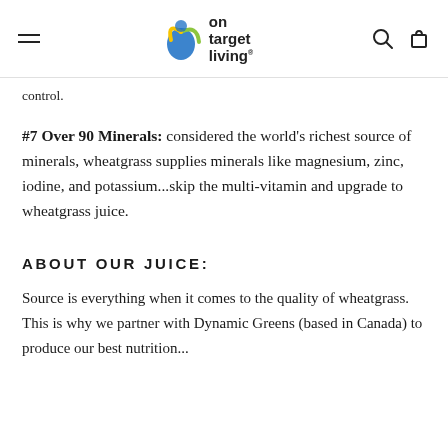on target living
control.
#7 Over 90 Minerals: considered the world's richest source of minerals, wheatgrass supplies minerals like magnesium, zinc, iodine, and potassium...skip the multi-vitamin and upgrade to wheatgrass juice.
ABOUT OUR JUICE:
Source is everything when it comes to the quality of wheatgrass. This is why we partner with Dynamic Greens (based in Canada) to produce our best nutrition...